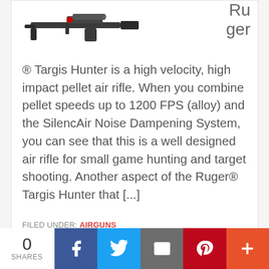[Figure (photo): Ruger Targis Hunter air rifle product image, showing the rifle from the side with a scope mounted on top]
Ruger® Targis Hunter is a high velocity, high impact pellet air rifle. When you combine pellet speeds up to 1200 FPS (alloy) and the SilencAir Noise Dampening System, you can see that this is a well designed air rifle for small game hunting and target shooting. Another aspect of the Ruger® Targis Hunter that [...]
FILED UNDER: AIRGUNS
TAGGED WITH: BREAK BARREL AIRGUNS, RUGER, UMAREX
0
SHARES